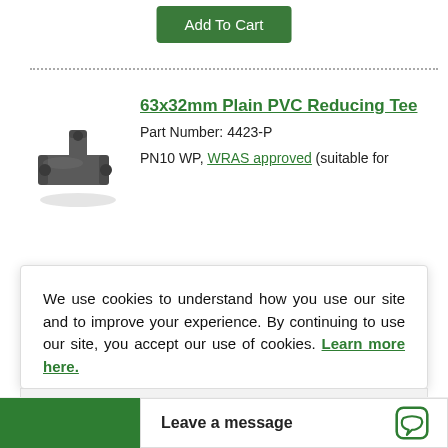Add To Cart
[Figure (photo): 63x32mm Plain PVC Reducing Tee pipe fitting, dark grey, T-shaped with smaller side outlet]
63x32mm Plain PVC Reducing Tee
Part Number: 4423-P
PN10 WP, WRAS approved (suitable for
We use cookies to understand how you use our site and to improve your experience. By continuing to use our site, you accept our use of cookies. Learn more here.
I Accept
Leave a message